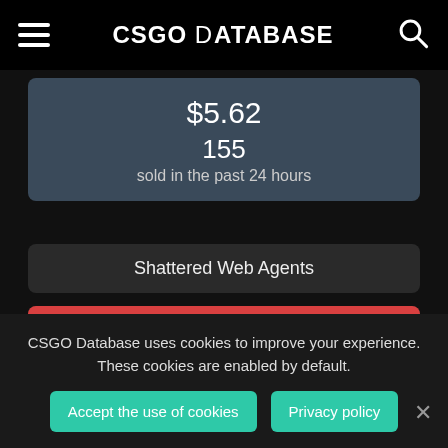CSGO Database
$5.62
155
sold in the past 24 hours
Shattered Web Agents
'The Doctor' Romanov | Sabre
[Figure (illustration): 3D character model of 'The Doctor' Romanov agent, showing upper body with silver hair and sunglasses]
CSGO Database uses cookies to improve your experience. These cookies are enabled by default.
Accept the use of cookies
Privacy policy